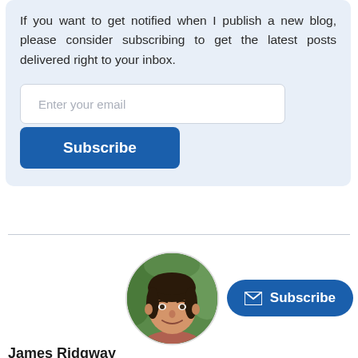If you want to get notified when I publish a new blog, please consider subscribing to get the latest posts delivered right to your inbox.
[Figure (screenshot): Email input field with placeholder text 'Enter your email' and a blue Subscribe button below it, inside a light blue subscription box]
[Figure (photo): Circular profile photo of a young man with dark hair, smiling, wearing a red shirt, with green foliage in the background]
[Figure (other): Blue rounded pill-shaped Subscribe button with an envelope icon on the left]
James Ridgway